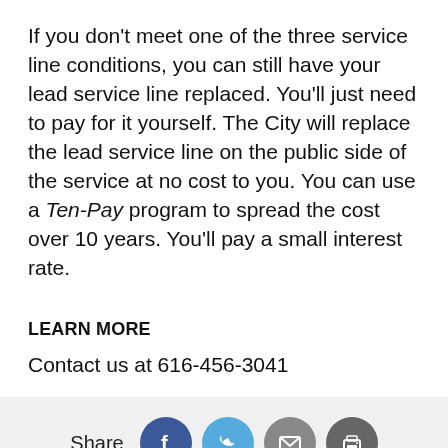If you don't meet one of the three service line conditions, you can still have your lead service line replaced. You'll just need to pay for it yourself. The City will replace the lead service line on the public side of the service at no cost to you. You can use a Ten-Pay program to spread the cost over 10 years. You'll pay a small interest rate.
LEARN MORE
Contact us at 616-456-3041
[Figure (other): Share bar with Facebook, Twitter, Email, and Print icon buttons]
[Figure (other): Dark footer bar with back-to-top chevron button in bottom right]